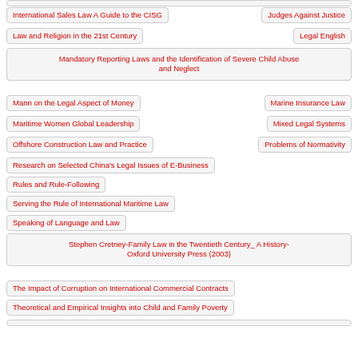International Sales Law A Guide to the CISG
Judges Against Justice
Law and Religion in the 21st Century
Legal English
Mandatory Reporting Laws and the Identification of Severe Child Abuse and Neglect
Mann on the Legal Aspect of Money
Marine Insurance Law
Maritime Women Global Leadership
Mixed Legal Systems
Offshore Construction Law and Practice
Problems of Normativity
Research on Selected China's Legal Issues of E-Business
Rules and Rule-Following
Serving the Rule of International Maritime Law
Speaking of Language and Law
Stephen Cretney-Family Law in the Twentieth Century_ A History-Oxford University Press (2003)
The Impact of Corruption on International Commercial Contracts
Theoretical and Empirical Insights into Child and Family Poverty